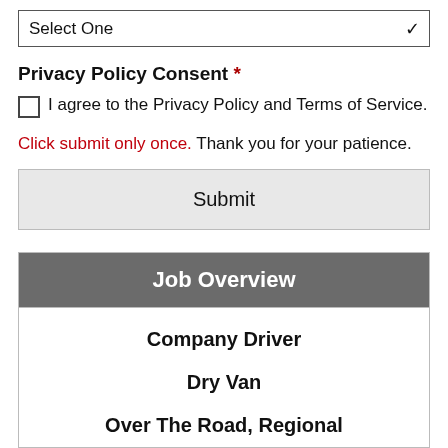Select One
Privacy Policy Consent *
I agree to the Privacy Policy and Terms of Service.
Click submit only once. Thank you for your patience.
Submit
| Job Overview |
| --- |
| Company Driver |
| Dry Van |
| Over The Road, Regional |